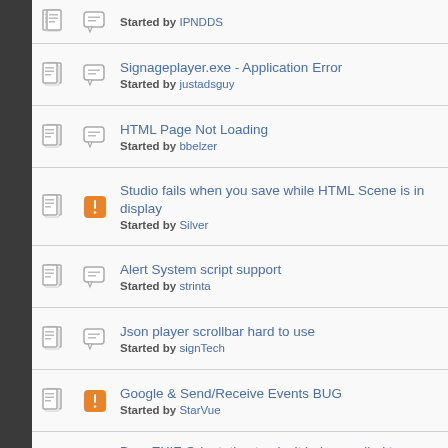Who else is having problems with World Weather? Started by IPNDDS
Signageplayer.exe - Application Error
Started by justadsguy
HTML Page Not Loading
Started by bbelzer
Studio fails when you save while HTML Scene is in display
Started by Silver
Alert System script support
Started by strinta
Json player scrollbar hard to use
Started by signTech
Google & Send/Receive Events BUG
Started by StarVue
Bug: EXIF Orientation tag isn't being applied to uploaded resources
Started by perditi0nspam